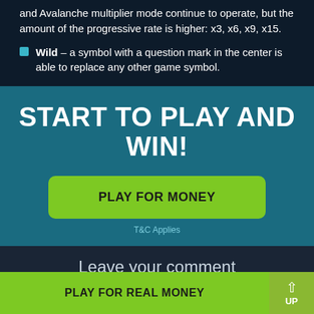and Avalanche multiplier mode continue to operate, but the amount of the progressive rate is higher: x3, x6, x9, x15.
Wild – a symbol with a question mark in the center is able to replace any other game symbol.
START TO PLAY AND WIN!
PLAY FOR MONEY
T&C Applies
Leave your comment
PLAY FOR REAL MONEY
UP